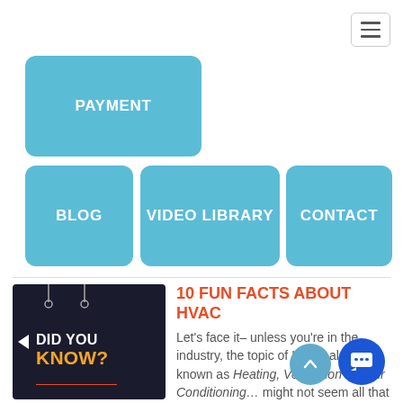[Figure (screenshot): Hamburger menu icon button in top right corner]
PAYMENT
BLOG
VIDEO LIBRARY
CONTACT
[Figure (photo): Dark background image with text 'DID YOU KNOW?' in white and yellow, with decorative arrows]
10 FUN FACTS ABOUT HVAC
Let's face it– unless you're in the industry, the topic of HVAC also known as Heating, Ventilation and Air Conditioning... might not seem all that interesting. We personally love anything and everything heating and cooling related.  However, we thought you'd enjoy these rather interesting facts about HVAC systems. Here are ten interesting facts about HVAC you (probably) didn't know. Who